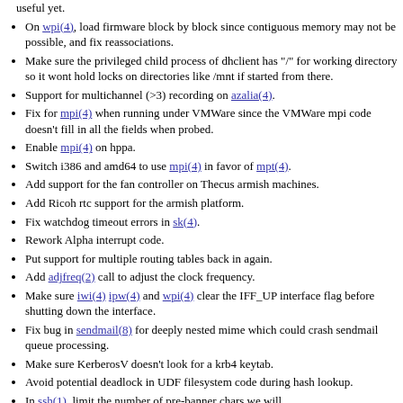useful yet.
On wpi(4), load firmware block by block since contiguous memory may not be possible, and fix reassociations.
Make sure the privileged child process of dhclient has "/" for working directory so it wont hold locks on directories like /mnt if started from there.
Support for multichannel (>3) recording on azalia(4).
Fix for mpi(4) when running under VMWare since the VMWare mpi code doesn't fill in all the fields when probed.
Enable mpi(4) on hppa.
Switch i386 and amd64 to use mpi(4) in favor of mpt(4).
Add support for the fan controller on Thecus armish machines.
Add Ricoh rtc support for the armish platform.
Fix watchdog timeout errors in sk(4).
Rework Alpha interrupt code.
Put support for multiple routing tables back in again.
Add adjfreq(2) call to adjust the clock frequency.
Make sure iwi(4) ipw(4) and wpi(4) clear the IFF_UP interface flag before shutting down the interface.
Fix bug in sendmail(8) for deeply nested mime which could crash sendmail queue processing.
Make sure KerberosV doesn't look for a krb4 keytab.
Avoid potential deadlock in UDF filesystem code during hash lookup.
In ssh(1), limit the number of pre-banner chars we will